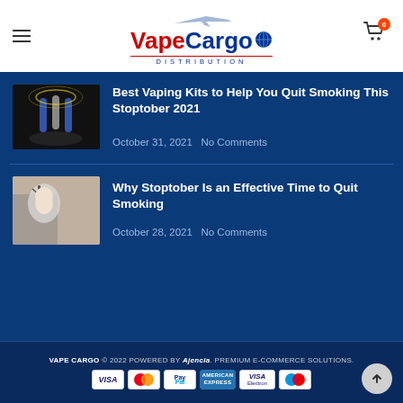VapeCargo Distribution — hamburger menu, cart icon with 0 badge
Best Vaping Kits to Help You Quit Smoking This Stoptober 2021
October 31, 2021  No Comments
Why Stoptober Is an Effective Time to Quit Smoking
October 28, 2021  No Comments
VAPE CARGO © 2022 POWERED BY Ajencia. PREMIUM E-COMMERCE SOLUTIONS. Payment icons: VISA, MasterCard, PayPal, American Express, VISA Electron, Maestro